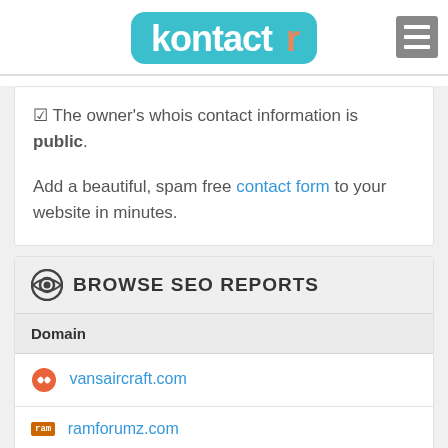[Figure (logo): Kontactr logo in teal/blue with orange 'r', with hamburger menu icon in gray on the right]
☑ The owner's whois contact information is public.
Add a beautiful, spam free contact form to your website in minutes.
BROWSE SEO REPORTS
| Domain |
| --- |
| vansaircraft.com |
| ramforumz.com |
| (partial row visible) |